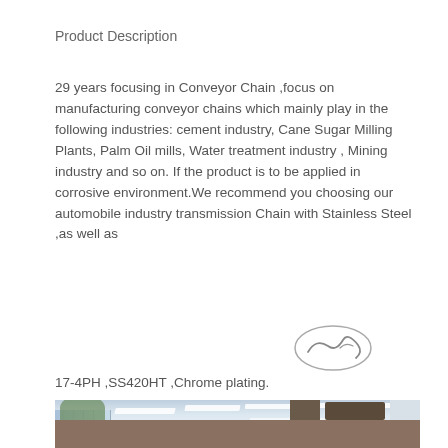Product Description
29 years focusing in Conveyor Chain ,focus on manufacturing conveyor chains which mainly play in the following industries: cement industry, Cane Sugar Milling Plants, Palm Oil mills, Water treatment industry , Mining industry and so on. If the product is to be applied in corrosive environment.We recommend you choosing our automobile industry transmission Chain with Stainless Steel ,as well as
[Figure (illustration): Handwritten signature or scribble in dark ink, oval/elliptical shape]
17-4PH ,SS420HT ,Chrome plating.
[Figure (photo): Interior of a manufacturing facility or factory floor with ceiling lights, large windows on the left side, white walls, and industrial equipment visible in the background.]